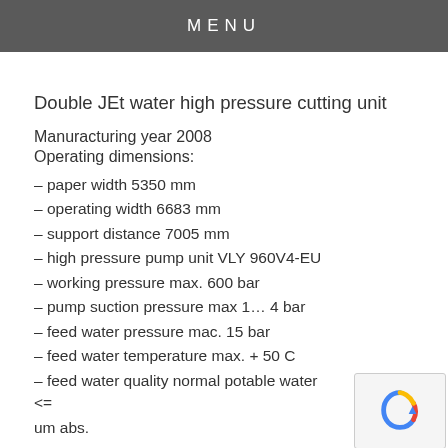MENU
Double JEt water high pressure cutting unit
Manuracturing year 2008
Operating dimensions:
– paper width 5350 mm
– operating width 6683 mm
– support distance 7005 mm
– high pressure pump unit VLY 960V4-EU
– working pressure max. 600 bar
– pump suction pressure max 1… 4 bar
– feed water pressure mac. 15 bar
– feed water temperature max. + 50 C
– feed water quality normal potable water <=
um abs.